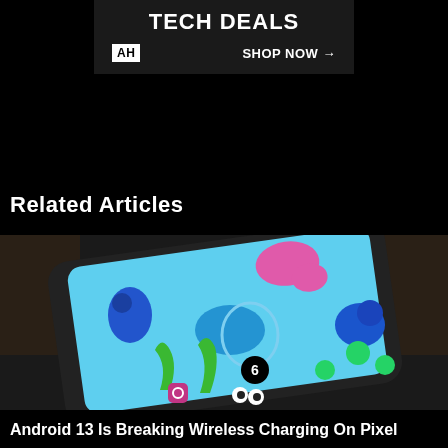[Figure (screenshot): Advertisement banner with dark background showing 'TECH DEALS' in bold white text, AH logo on left, and 'SHOP NOW →' on right]
Related Articles
[Figure (photo): A smartphone lying on a dark surface, displaying a colorful animated wallpaper with cartoon sea creatures and app icons including TikTok and Instagram on a light blue background]
Android 13 Is Breaking Wireless Charging On Pixel